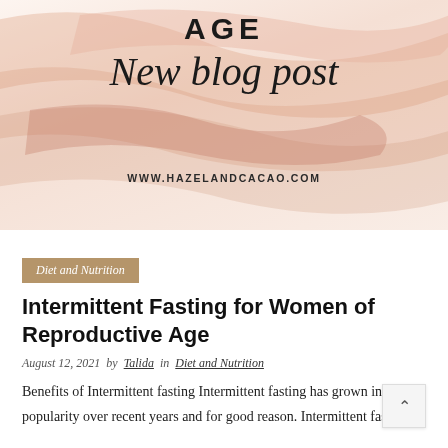[Figure (illustration): Blog header banner with watercolor peach/salmon brush strokes background, text reading AGE in bold sans-serif, New blog post in cursive script, and WWW.HAZELANDCACAO.COM in small caps]
Diet and Nutrition
Intermittent Fasting for Women of Reproductive Age
August 12, 2021  by  Talida  in  Diet and Nutrition
Benefits of Intermittent fasting Intermittent fasting has grown in popularity over recent years and for good reason. Intermittent fasting